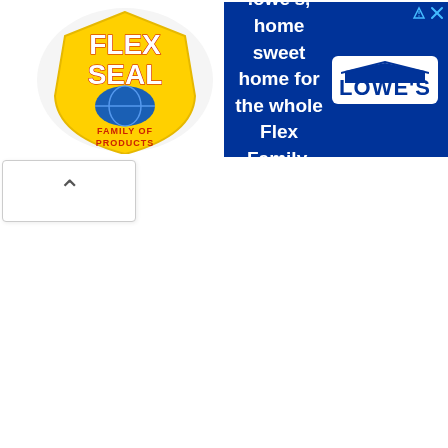[Figure (illustration): Flex Seal Family of Products logo on white background — yellow shield with 'FLEX SEAL' text and blue globe graphic, 'FAMILY OF PRODUCTS' tagline below]
[Figure (illustration): Lowe's advertisement banner with blue background. Left side text: '.owe's, home sweet home for the whole Flex Family.' Right side: Lowe's white logo with house roofline graphic on white rounded rectangle panel. Small ad attribution and close icons in top-right corner.]
[Figure (other): Collapse/minimize button with upward chevron caret (^) on white panel with light border, positioned below the ad banner]